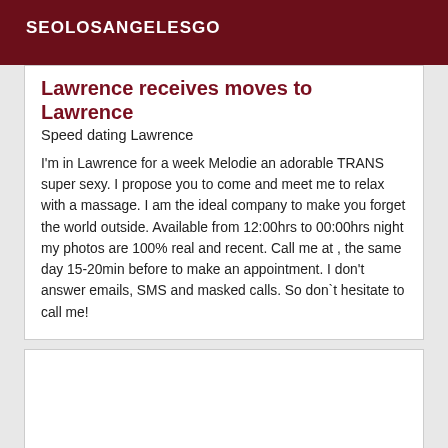SEOLOSANGELESGO
Lawrence receives moves to Lawrence
Speed dating Lawrence
I'm in Lawrence for a week Melodie an adorable TRANS super sexy. I propose you to come and meet me to relax with a massage. I am the ideal company to make you forget the world outside. Available from 12:00hrs to 00:00hrs night my photos are 100% real and recent. Call me at , the same day 15-20min before to make an appointment. I don't answer emails, SMS and masked calls. So don`t hesitate to call me!